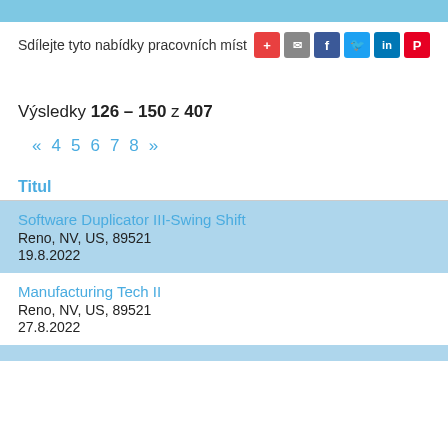Sdílejte tyto nabídky pracovních míst
Výsledky 126 – 150 z 407
« 4 5 6 7 8 »
Titul
Software Duplicator III-Swing Shift
Reno, NV, US, 89521
19.8.2022
Manufacturing Tech II
Reno, NV, US, 89521
27.8.2022